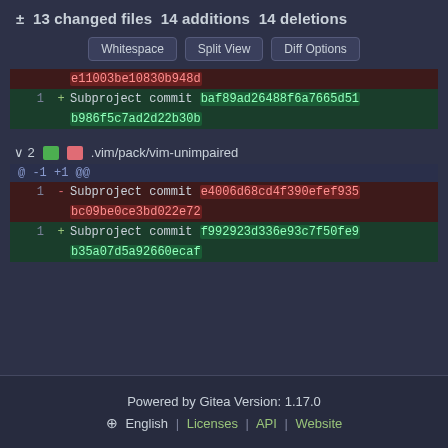± 13 changed files 14 additions 14 deletions
Whitespace | Split View | Diff Options
[Figure (screenshot): Git diff output showing subproject commit hash changes for .vim/pack/vim-unimpaired]
Powered by Gitea Version: 1.17.0 | English | Licenses | API | Website